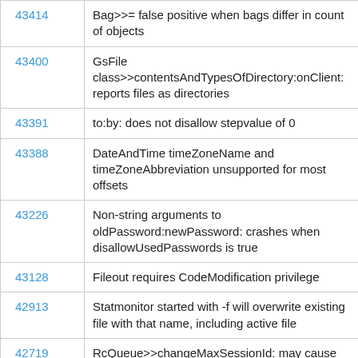| ID | Description |
| --- | --- |
| 43414 | Bag>>= false positive when bags differ in count of objects |
| 43400 | GsFile class>>contentsAndTypesOfDirectory:onClient: reports files as directories |
| 43391 | to:by: does not disallow stepvalue of 0 |
| 43388 | DateAndTime timeZoneName and timeZoneAbbreviation unsupported for most offsets |
| 43226 | Non-string arguments to oldPassword:newPassword: crashes when disallowUsedPasswords is true |
| 43128 | Fileout requires CodeModification privilege |
| 42913 | Statmonitor started with -f will overwrite existing file with that name, including active file |
| 42719 | RcQueue>>changeMaxSessionId: may cause problems |
| 42699 | CommitRecordBacklog: created by terminated... |